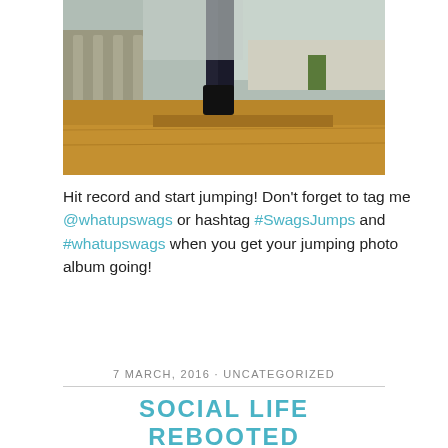[Figure (photo): Person standing outdoors in dark clothing and boots near a stone balustrade, water feature, and autumn/winter landscaping with brown mulch ground cover]
Hit record and start jumping! Don't forget to tag me @whatupswags or hashtag #SwagsJumps and #whatupswags when you get your jumping photo album going!
7 MARCH, 2016 · UNCATEGORIZED
SOCIAL LIFE REBOOTED